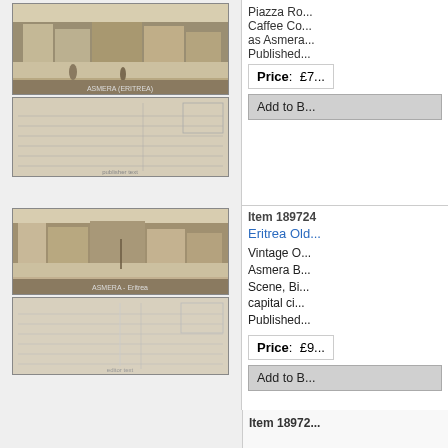[Figure (photo): Section 1: Vintage postcard front showing a street scene, and postcard back]
Piazza Ro... Caffee Co... as Asmera... Published...
Price: £7...
Add to B...
Item 189724
Eritrea Old...
[Figure (photo): Section 2: Vintage postcard front showing Asmera B... street scene and postcard back]
Vintage O... Asmera B... Scene, Bi... capital ci... Published...
Price: £9...
Add to B...
Item 18972...